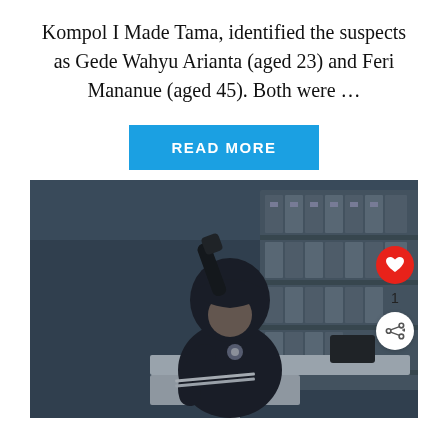Kompol I Made Tama, identified the suspects as Gede Wahyu Arianta (aged 23) and Feri Mananue (aged 45). Both were …
[Figure (other): Blue 'READ MORE' button hyperlink]
[Figure (photo): A person in a dark hoodie holding a flashlight/baton raised above their head while leaning over a white desk in a dimly lit office, with shelving and binders visible in the background.]